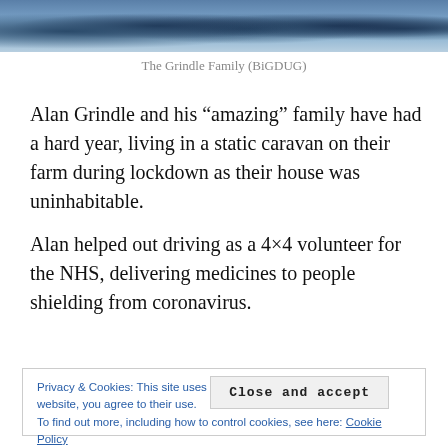[Figure (photo): Cropped photograph of the Grindle family at top of page]
The Grindle Family (BiGDUG)
Alan Grindle and his "amazing" family have had a hard year, living in a static caravan on their farm during lockdown as their house was uninhabitable.
Alan helped out driving as a 4×4 volunteer for the NHS, delivering medicines to people shielding from coronavirus.
Privacy & Cookies: This site uses cookies. By continuing to use this website, you agree to their use.
To find out more, including how to control cookies, see here: Cookie Policy
Close and accept